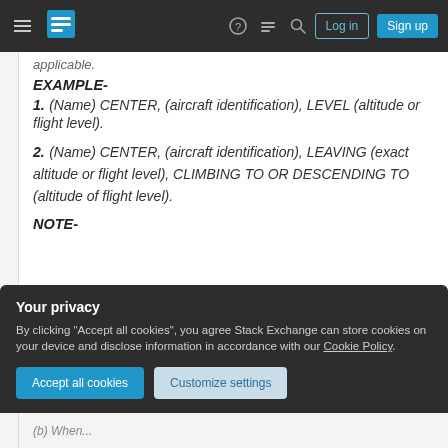Stack Exchange navigation bar with hamburger menu, logo, help, chat, search icons, Log in and Sign up buttons
applicable.
EXAMPLE-
1. (Name) CENTER, (aircraft identification), LEVEL (altitude or flight level).
2. (Name) CENTER, (aircraft identification), LEAVING (exact altitude or flight level), CLIMBING TO OR DESCENDING TO (altitude of flight level).
NOTE-
(partial text cut off)
Your privacy
By clicking "Accept all cookies", you agree Stack Exchange can store cookies on your device and disclose information in accordance with our Cookie Policy.
Accept all cookies | Customize settings
(b) When...